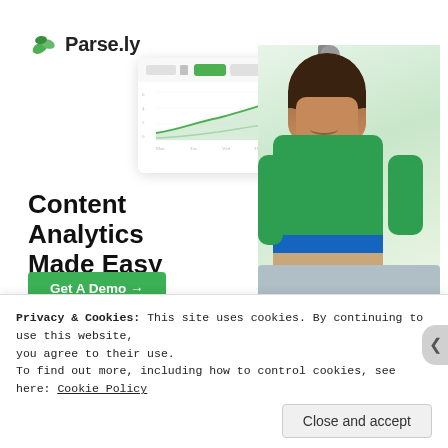Advertisements
[Figure (screenshot): Parse.ly advertisement banner featuring the Parse.ly logo (green leaf icon with text), a dashboard analytics screenshot mockup showing a line chart, and a photo of a woman in a green sweater standing in an office. Text reads 'Content Analytics Made Easy' with a green 'Get A Demo →' button. Small 'REPORT THIS AD' text at bottom right.]
Share th...
Privacy & Cookies: This site uses cookies. By continuing to use this website, you agree to their use.
To find out more, including how to control cookies, see here: Cookie Policy
Close and accept